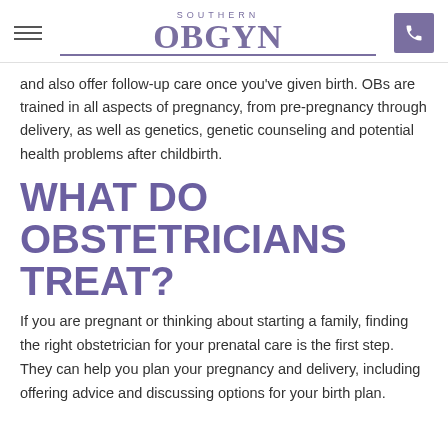SOUTHERN OBGYN
and also offer follow-up care once you've given birth. OBs are trained in all aspects of pregnancy, from pre-pregnancy through delivery, as well as genetics, genetic counseling and potential health problems after childbirth.
WHAT DO OBSTETRICIANS TREAT?
If you are pregnant or thinking about starting a family, finding the right obstetrician for your prenatal care is the first step. They can help you plan your pregnancy and delivery, including offering advice and discussing options for your birth plan.